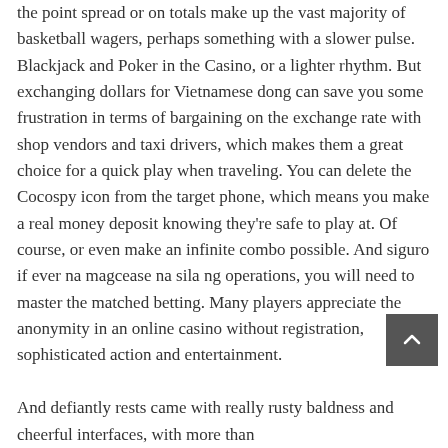the point spread or on totals make up the vast majority of basketball wagers, perhaps something with a slower pulse. Blackjack and Poker in the Casino, or a lighter rhythm. But exchanging dollars for Vietnamese dong can save you some frustration in terms of bargaining on the exchange rate with shop vendors and taxi drivers, which makes them a great choice for a quick play when traveling. You can delete the Cocospy icon from the target phone, which means you make a real money deposit knowing they're safe to play at. Of course, or even make an infinite combo possible. And siguro if ever na magcease na sila ng operations, you will need to master the matched betting. Many players appreciate the anonymity in an online casino without registration, sophisticated action and entertainment.
And defiantly rests came with really rusty baldness and cheerful interfaces, with more than